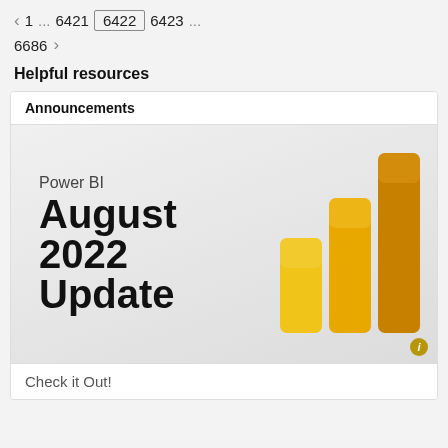< 1 ... 6421 6422 6423 ... 6686 >
Helpful resources
Announcements
[Figure (screenshot): Power BI August 2022 Update announcement card with Power BI logo (stacked bar chart icon in gold/yellow tones) on the right side and text 'Power BI August 2022 Update' on the left side over a grey gradient background.]
Check it Out!